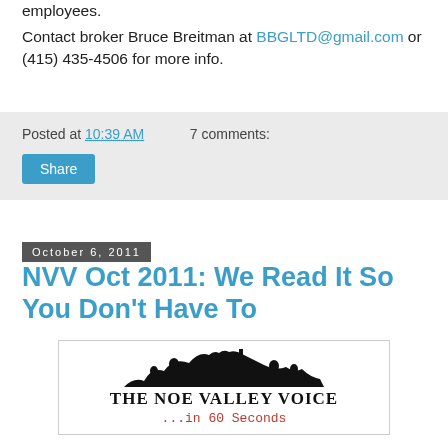employees.
Contact broker Bruce Breitman at BBGLTD@gmail.com or (415) 435-4506 for more info.
Posted at 10:39 AM    7 comments:
Share
October 6, 2011
NVV Oct 2011: We Read It So You Don't Have To
[Figure (logo): The Noe Valley Voice logo — silhouette of hills and trees, text 'THE NOE VALLEY VOICE' and tagline '...in 60 Seconds' in red monospace]
The Noe Valley Voice is published ten times a year and has been a neighborhood fixture since 1977. Here are highlights from the latest issue. Links are to items we've covered here on NVSF or outside sources as the Voice doesn't post